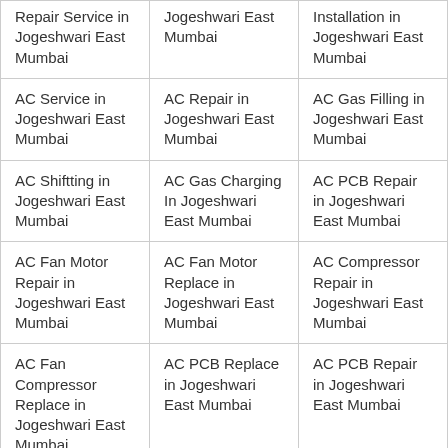| Repair Service in Jogeshwari East Mumbai | Jogeshwari East Mumbai | Installation in Jogeshwari East Mumbai |
| AC Service in Jogeshwari East Mumbai | AC Repair in Jogeshwari East Mumbai | AC Gas Filling in Jogeshwari East Mumbai |
| AC Shiftting in Jogeshwari East Mumbai | AC Gas Charging In Jogeshwari East Mumbai | AC PCB Repair in Jogeshwari East Mumbai |
| AC Fan Motor Repair in Jogeshwari East Mumbai | AC Fan Motor Replace in Jogeshwari East Mumbai | AC Compressor Repair in Jogeshwari East Mumbai |
| AC Fan Compressor Replace in Jogeshwari East Mumbai | AC PCB Replace in Jogeshwari East Mumbai | AC PCB Repair in Jogeshwari East Mumbai |
| Window AC Service | Window AC | Window AC Repair |